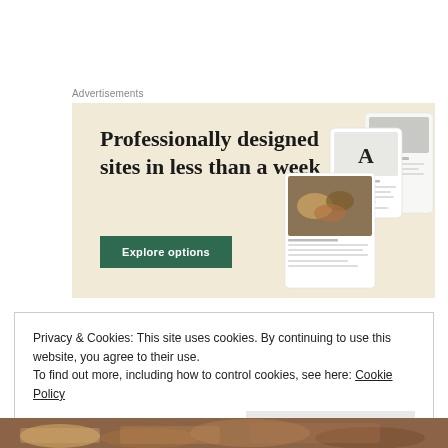Advertisements
[Figure (screenshot): Advertisement banner with beige background showing 'Professionally designed sites in less than a week' headline, a green 'Explore options' button, and mock website screenshot images on the right.]
Privacy & Cookies: This site uses cookies. By continuing to use this website, you agree to their use.
To find out more, including how to control cookies, see here: Cookie Policy
Close and accept
[Figure (photo): Bottom strip showing a partial food photo (salad/bowl dish).]